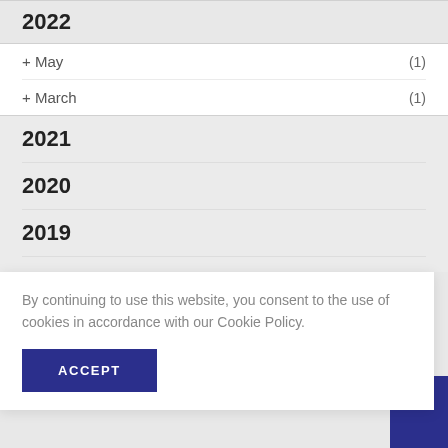2022
+ May (1)
+ March (1)
2021
2020
2019
2018
By continuing to use this website, you consent to the use of cookies in accordance with our Cookie Policy.
ACCEPT